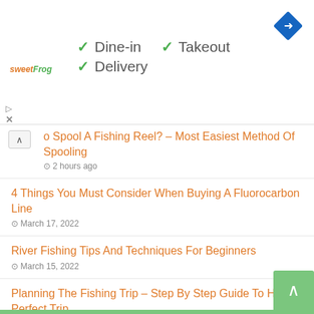[Figure (other): Advertisement banner for sweetFrog restaurant showing dine-in, takeout, and delivery options with checkmarks, and a navigation/directions icon]
o Spool A Fishing Reel? – Most Easiest Method Of Spooling
2 hours ago
4 Things You Must Consider When Buying A Fluorocarbon Line
March 17, 2022
River Fishing Tips And Techniques For Beginners
March 15, 2022
Planning The Fishing Trip – Step By Step Guide To Have A Perfect Trip
March 12, 2022
8 Types Of Fishing Reels Available On The Market.
February 25, 2022